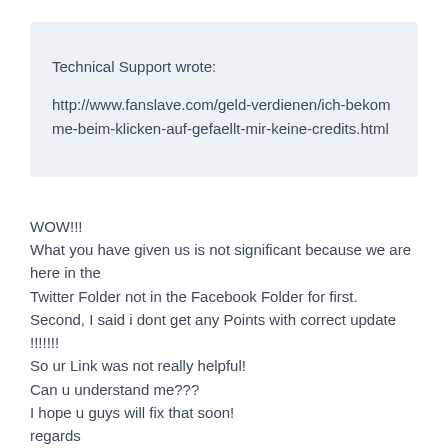Technical Support wrote:
http://www.fanslave.com/geld-verdienen/ich-bekomme-beim-klicken-auf-gefaellt-mir-keine-credits.html
WOW!!!
What you have given us is not significant because we are here in the
Twitter Folder not in the Facebook Folder for first.
Second, I said i dont get any Points with correct update !!!!!!!
So ur Link was not really helpful!
Can u understand me???
I hope u guys will fix that soon!
regards
ermin